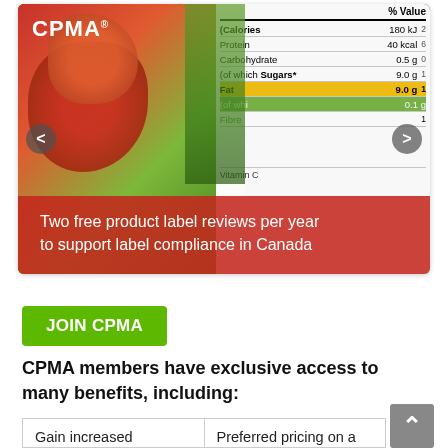[Figure (screenshot): CPMA website banner showing a photo of fresh vegetables and a nutrition label, with navigation arrows on both sides. CPMA logo in top-left corner of the banner.]
Two free product label reviews per year to support label compliance in Canada
JOIN CPMA
CPMA members have exclusive access to many benefits, including:
| Gain increased exposure through CPMA's Annual | Preferred pricing on a variety of CPMA |